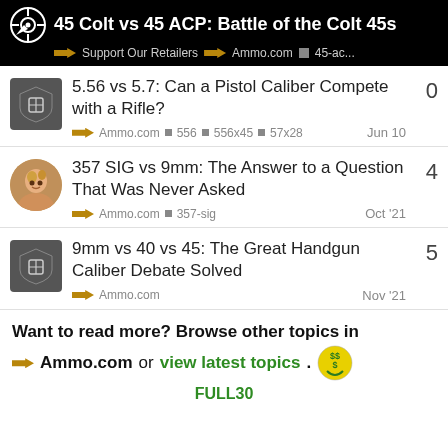45 Colt vs 45 ACP: Battle of the Colt 45s | Support Our Retailers | Ammo.com | 45-ac...
5.56 vs 5.7: Can a Pistol Caliber Compete with a Rifle?
Ammo.com 556 556x45 57x28 Jun 10
357 SIG vs 9mm: The Answer to a Question That Was Never Asked
Ammo.com 357-sig Oct '21
9mm vs 40 vs 45: The Great Handgun Caliber Debate Solved
Ammo.com Nov '21
Want to read more? Browse other topics in Ammo.com or view latest topics.
FULL30